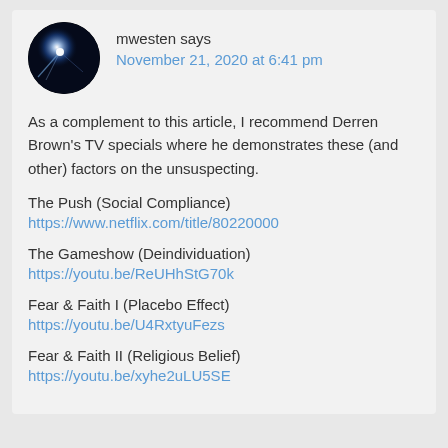mwesten says
November 21, 2020 at 6:41 pm
As a complement to this article, I recommend Derren Brown's TV specials where he demonstrates these (and other) factors on the unsuspecting.
The Push (Social Compliance)
https://www.netflix.com/title/80220000
The Gameshow (Deindividuation)
https://youtu.be/ReUHhStG70k
Fear & Faith I (Placebo Effect)
https://youtu.be/U4RxtyuFezs
Fear & Faith II (Religious Belief)
https://youtu.be/xyhe2uLU5SE